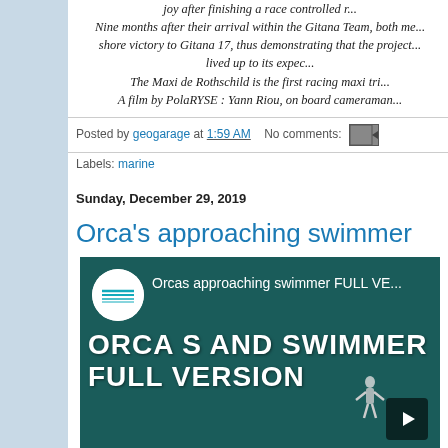joy after finishing a race controlled r... Nine months after their arrival within the Gitana Team, both me... shore victory to Gitana 17, thus demonstrating that the project... lived up to its expec... The Maxi de Rothschild is the first racing maxi tri... A film by PolaRYSE : Yann Riou, on board cameraman...
Posted by geogarage at 1:59 AM   No comments:
Labels: marine
Sunday, December 29, 2019
Orca's approaching swimmer
[Figure (screenshot): YouTube video thumbnail showing 'Orcas approaching swimmer FULL VERSION' with text 'ORCA S AND SWIMMER FULL VERSION' on a dark teal background, with a circular channel logo on the left and a diver silhouette at the bottom right.]